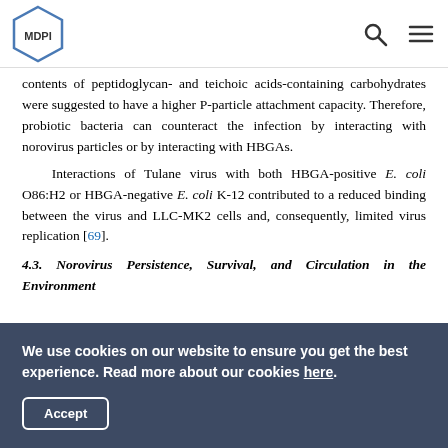MDPI
contents of peptidoglycan- and teichoic acids-containing carbohydrates were suggested to have a higher P-particle attachment capacity. Therefore, probiotic bacteria can counteract the infection by interacting with norovirus particles or by interacting with HBGAs.
Interactions of Tulane virus with both HBGA-positive E. coli O86:H2 or HBGA-negative E. coli K-12 contributed to a reduced binding between the virus and LLC-MK2 cells and, consequently, limited virus replication [69].
4.3. Norovirus Persistence, Survival, and Circulation in the Environment
We use cookies on our website to ensure you get the best experience. Read more about our cookies here.
Accept